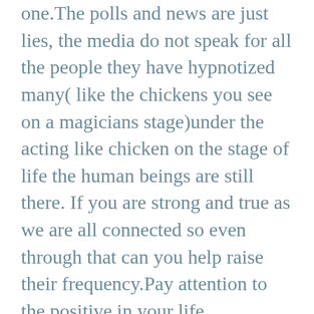one.The polls and news are just lies, the media do not speak for all the people they have hypnotized many( like the chickens you see on a magicians stage)under the acting like chicken on the stage of life the human beings are still there. If you are strong and true as we are all connected so even through that can you help raise their frequency.Pay attention to the positive in your life Action and words coming from centered present moment awareness not fear. Let us continue to not believe any of the the media propaganda that is amplifying